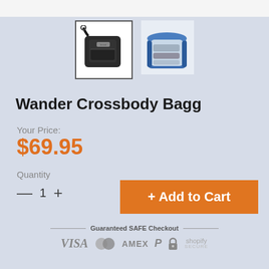[Figure (photo): Two product thumbnail images: first shows a black crossbody bag (selected, with border), second shows the bag open in blue color]
Wander Crossbody Bagg
Your Price:
$69.95
Quantity
— 1 +
+ Add to Cart
Guaranteed SAFE Checkout
[Figure (infographic): Payment icons: VISA, Mastercard, AMEX, PayPal, lock icon, Shopify Secure]